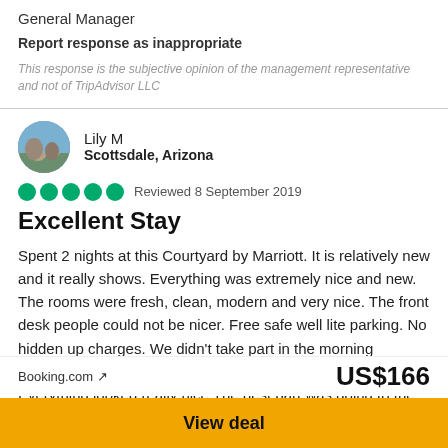General Manager
Report response as inappropriate
This response is the subjective opinion of the management representative and not of TripAdvisor LLC
Lily M
Scottsdale, Arizona
Reviewed 8 September 2019
Excellent Stay
Spent 2 nights at this Courtyard by Marriott. It is relatively new and it really shows. Everything was extremely nice and new. The rooms were fresh, clean, modern and very nice. The front desk people could not be nicer. Free safe well lite parking. No hidden up charges. We didn't take part in the morning breakfast or the fitness center. Breakfast is not free. Everything looked really nice The best part was going to the elevator and looking out the
Booking.com ↗
US$166
View deal